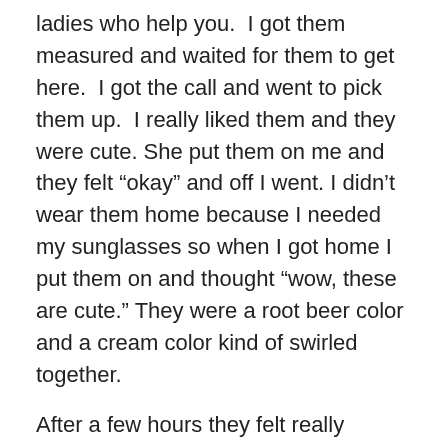ladies who help you.  I got them measured and waited for them to get here.  I got the call and went to pick them up.  I really liked them and they were cute. She put them on me and they felt „okay” and off I went. I didn’t wear them home because I needed my sunglasses so when I got home I put them on and thought „wow, these are cute.” They were a root beer color and a cream color kind of swirled together.
After a few hours they felt really weird.  I looked in the mirror and they didn’t look right.  I adjusted them and I knew something was wrong.  The left lens was sitting against my cheek and the right one, my eyelash was hitting the lens.  I was really irritated.  I’ve been getting the progressive lenses now for roughly 7 years and they are really hard to adjust to so I just hate getting new glasses to begin with.  But something was really wrong with these. I